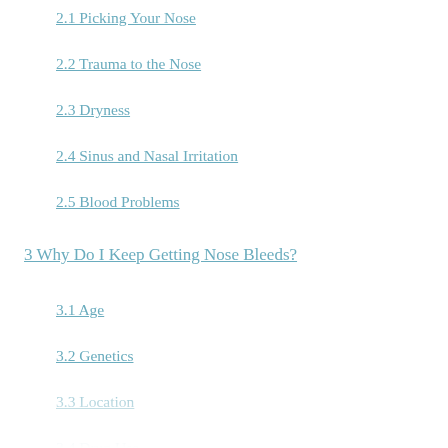2.1 Picking Your Nose
2.2 Trauma to the Nose
2.3 Dryness
2.4 Sinus and Nasal Irritation
2.5 Blood Problems
3 Why Do I Keep Getting Nose Bleeds?
3.1 Age
3.2 Genetics
3.3 Location
3.4 Drug Use
3.5 Pregnancy
4 How to Prevent Nose Bleeds While Sleeping at Night
4.1 Stay Hydrated
4.2 Lubricate Your Nose
4.3 Humidifier